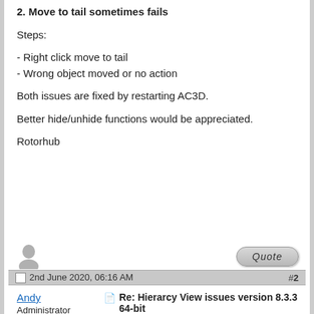2. Move to tail sometimes fails
Steps:
- Right click move to tail
- Wrong object moved or no action
Both issues are fixed by restarting AC3D.
Better hide/unhide functions would be appreciated.
Rotorhub
[Figure (other): Quote button (pill-shaped grey button with italic 'Quote' text)]
2nd June 2020, 06:16 AM  #2
Andy
Administrator
Professional user
[Figure (illustration): 3D rendered head avatar - grey stylized human head facing left]
Re: Hierarcy View issues version 8.3.3 64-bit
I can't seem to duplicate these problems. Are you on Windows, Linux or Mac?
You imply that these functions